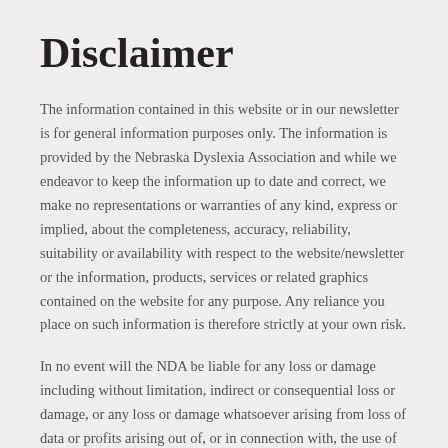Disclaimer
The information contained in this website or in our newsletter is for general information purposes only. The information is provided by the Nebraska Dyslexia Association and while we endeavor to keep the information up to date and correct, we make no representations or warranties of any kind, express or implied, about the completeness, accuracy, reliability, suitability or availability with respect to the website/newsletter or the information, products, services or related graphics contained on the website for any purpose. Any reliance you place on such information is therefore strictly at your own risk.
In no event will the NDA be liable for any loss or damage including without limitation, indirect or consequential loss or damage, or any loss or damage whatsoever arising from loss of data or profits arising out of, or in connection with, the use of this website or our newsletter.
Through this website and our newsletter, you are able to link to websites which are not under the control of the NDA. We have no control over the nature, content and availability of those sites. The